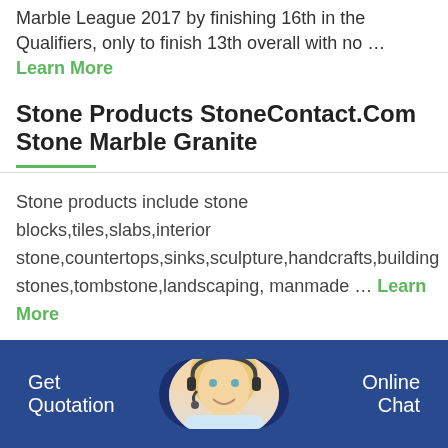Marble League 2017 by finishing 16th in the Qualifiers, only to finish 13th overall with no … Learn More
Stone Products StoneContact.Com Stone Marble Granite
Stone products include stone blocks,tiles,slabs,interior stone,countertops,sinks,sculpture,handcrafts,building stones,tombstone,landscaping, manmade … Learn More
China Pex Series Secondary Fine Jaw Crusher China
1. Small stone powder jaw crusher is widely app
Get Quotation   Online Chat